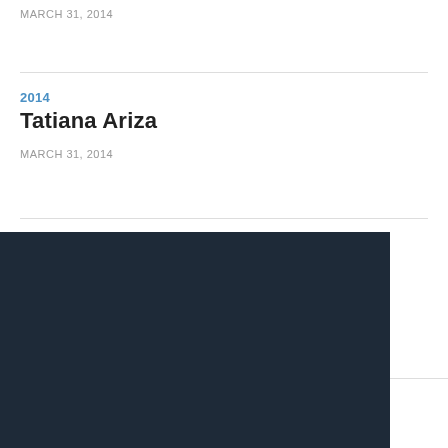MARCH 31, 2014
2014
Tatiana Ariza
MARCH 31, 2014
This website uses cookies to ensure you get the best experience on our website.
Learn more
Got it!
MARCH 31, 2014